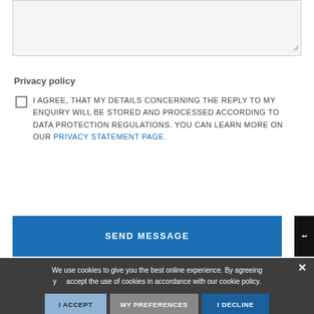[Figure (screenshot): Empty text area input box with resize handle at bottom right]
Privacy policy
I AGREE, THAT MY DETAILS CONCERNING THE REPLY TO MY ENQUIRY WILL BE STORED AND PROCESSED ACCORDING TO DATA PROTECTION REGULATIONS. YOU CAN LEARN MORE ON OUR PRIVACY STATEMENT PAGE.
[Figure (screenshot): Blue SEND MESSAGE button]
We use cookies to give you the best online experience. By agreeing you accept the use of cookies in accordance with our cookie policy.
[Figure (screenshot): Cookie consent buttons: I ACCEPT, MY PREFERENCES, I DECLINE]
Privacy Statement